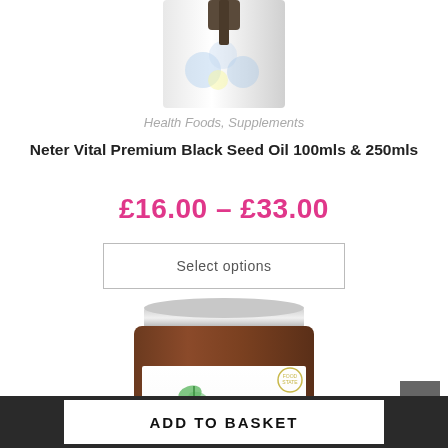[Figure (photo): Partial view of a product bottle with blue flowers on white background, cropped at top]
Health Foods, Supplements
Neter Vital Premium Black Seed Oil 100mls & 250mls
£16.00 – £33.00
Select options
[Figure (photo): Cytoplan Caprylic supplement jar with silver lid, brown glass bottle, white label with green leaf logo]
ADD TO BASKET